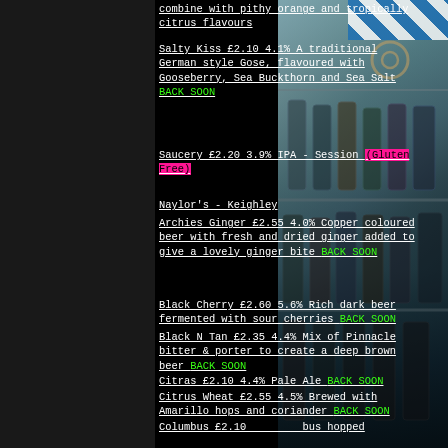combine with pithy orange and tropically citrus flavours
Salty Kiss £2.10 4.1% A traditional German style Gose, flavoured with Gooseberry, Sea Buckthorn and Sea Salt BACK SOON
Saucery £2.20 3.9% IPA - Session (Gluten Free)
Naylor's - Keighley
Archies Ginger £2.55 4.0% Copper coloured beer with fresh and dried ginger added to give a lovely ginger bite BACK SOON
Black Cherry £2.60 5.6% Rich dark beer fermented with sour cherries BACK SOON
Black N Tan £2.35 4.4% Mix of Pinnacle bitter & porter to create a deep brown beer BACK SOON
Citras £2.10 4.4% Pale Ale BACK SOON
Citrus Wheat £2.55 4.5% Brewed with Amarillo hops and coriander BACK SOON
Coffee Porter £2.60 4.8% Brewed with Brazilian Coffee beans and roasted malt BACK SOON
Columbus £2.10 ... columbus hopped